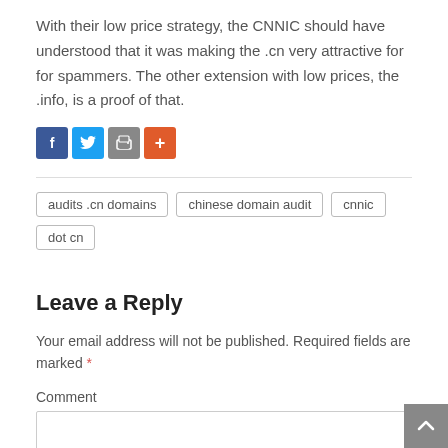With their low price strategy, the CNNIC should have understood that it was making the .cn very attractive for for spammers. The other extension with low prices, the .info, is a proof of that.
[Figure (other): Social sharing icons: Facebook (blue), Twitter (light blue), Print (gray), More (orange-red)]
audits .cn domains  chinese domain audit  cnnic  dot cn
Leave a Reply
Your email address will not be published. Required fields are marked *
Comment